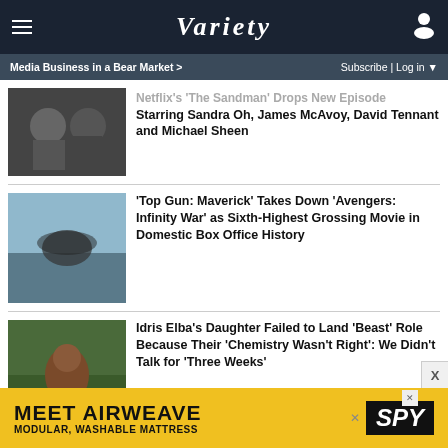VARIETY
Media Business in a Bear Market > Subscribe | Log in
Netflix's 'The Sandman' Drops New Episode Starring Sandra Oh, James McAvoy, David Tennant and Michael Sheen
'Top Gun: Maverick' Takes Down 'Avengers: Infinity War' as Sixth-Highest Grossing Movie in Domestic Box Office History
Idris Elba's Daughter Failed to Land 'Beast' Role Because Their 'Chemistry Wasn't Right': We Didn't Talk for 'Three Weeks'
[Figure (other): Advertisement banner: MEET AIRWEAVE MODULAR, WASHABLE MATTRESS with SPY logo]